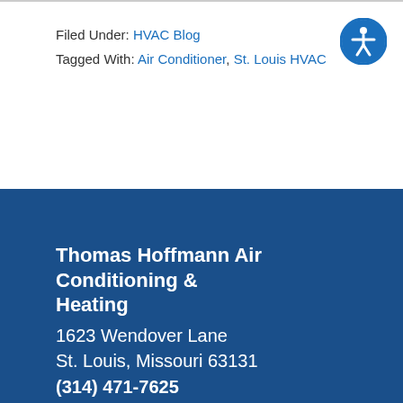Filed Under: HVAC Blog
Tagged With: Air Conditioner, St. Louis HVAC
[Figure (other): Accessibility icon: blue circle with white human figure (universal accessibility symbol)]
Thomas Hoffmann Air Conditioning & Heating
1623 Wendover Lane
St. Louis, Missouri 63131
(314) 471-7625